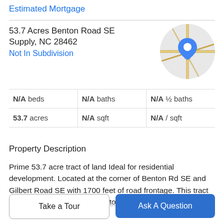Estimated Mortgage
53.7 Acres Benton Road SE
Supply, NC 28462
Not In Subdivision
[Figure (map): Circular Google Maps thumbnail showing street map with blue location pin marker]
| beds | baths | ½ baths |
| --- | --- | --- |
| N/A beds | N/A baths | N/A ½ baths |
| 53.7 acres | N/A sqft | N/A / sqft |
Property Description
Prime 53.7 acre tract of land Ideal for residential development. Located at the corner of Benton Rd SE and Gilbert Road SE with 1700 feet of road frontage. This tract is conveniently located close to Hwy 17, Novant Medical Center, Brunswick Community College, and Brunswick
Take a Tour
Ask A Question